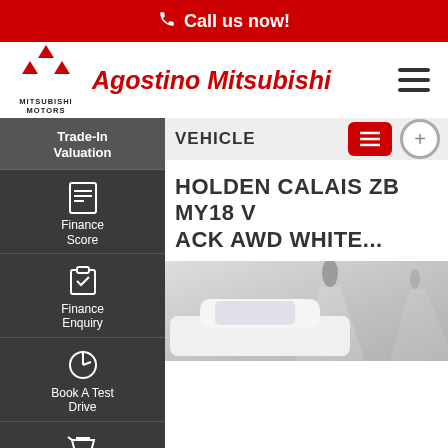Call us now!
Agostino Mitsubishi
VEHICLE
HOLDEN CALAIS ZB MY18 V ACK AWD WHITE...
Trade-In Valuation
Finance Score
Finance Enquiry
Book A Test Drive
Click To Buy
CONTACT US
FINANCE SCORE